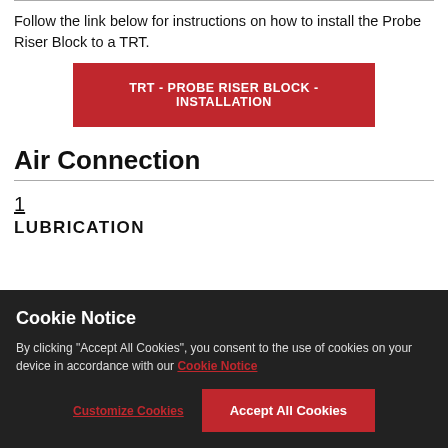Follow the link below for instructions on how to install the Probe Riser Block to a TRT.
[Figure (other): Red button labeled 'TRT - PROBE RISER BLOCK - INSTALLATION']
Air Connection
1
Partially visible bold text (cut off by cookie overlay)
Cookie Notice

By clicking "Accept All Cookies", you consent to the use of cookies on your device in accordance with our Cookie Notice
Customize Cookies | Accept All Cookies